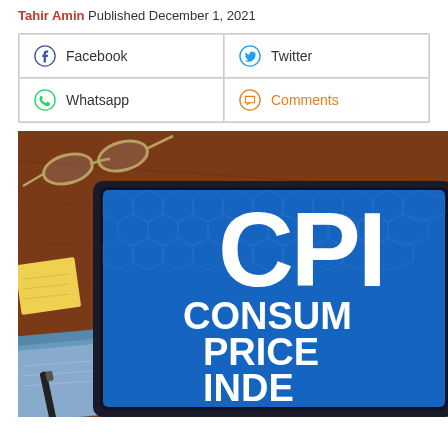Tahir Amin Published December 1, 2021
[Figure (other): Social media sharing buttons: Facebook, Twitter, Whatsapp, Comments in a 2x2 grid]
[Figure (photo): Photograph of a tablet displaying 'CPI Consumer Price Index' text on a blue hexagonal pattern background, with eyeglasses and a pen on a wooden desk in the background]